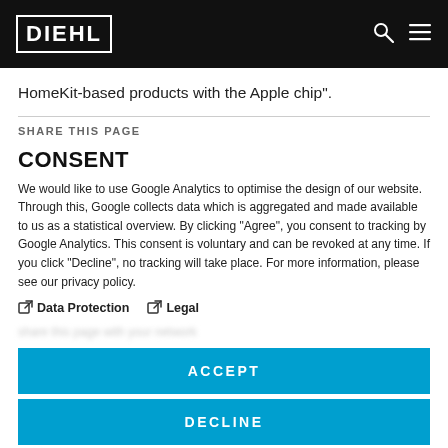DIEHL
HomeKit-based products with the Apple chip".
SHARE THIS PAGE
CONSENT
We would like to use Google Analytics to optimise the design of our website. Through this, Google collects data which is aggregated and made available to us as a statistical overview. By clicking "Agree", you consent to tracking by Google Analytics. This consent is voluntary and can be revoked at any time. If you click "Decline", no tracking will take place. For more information, please see our privacy policy.
Data Protection
Legal
ACCEPT
DECLINE